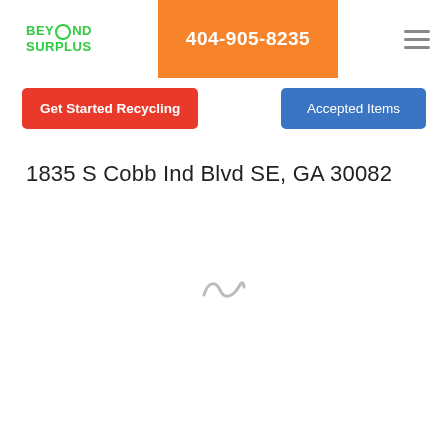BEYOND SURPLUS | 404-905-8235 | menu
Get Started Recycling
Accepted Items
1835 S Cobb Ind Blvd SE, GA 30082
[Figure (other): Loading spinner animation (tilde/wave shape) in light gray]